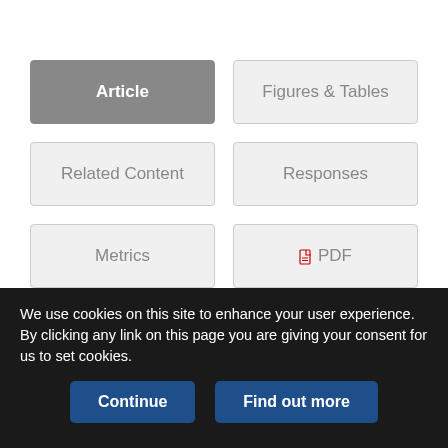[Figure (screenshot): Navigation tab buttons: Article (active/grey), Figures & Tables, Related Content, Responses, Metrics, PDF]
Abstract
Background: Recent studies have shown substantial deficiencies in the quality or quantity (or both) of communication and decision-making during critically ill patients to the offices of...
We use cookies on this site to enhance your user experience. By clicking any link on this page you are giving your consent for us to set cookies.
Continue | Find out more